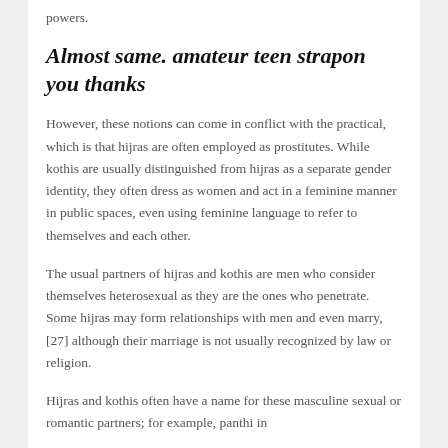powers.
Almost same. amateur teen strapon you thanks
However, these notions can come in conflict with the practical, which is that hijras are often employed as prostitutes. While kothis are usually distinguished from hijras as a separate gender identity, they often dress as women and act in a feminine manner in public spaces, even using feminine language to refer to themselves and each other.
The usual partners of hijras and kothis are men who consider themselves heterosexual as they are the ones who penetrate. Some hijras may form relationships with men and even marry,[27] although their marriage is not usually recognized by law or religion.
Hijras and kothis often have a name for these masculine sexual or romantic partners; for example, panthi in